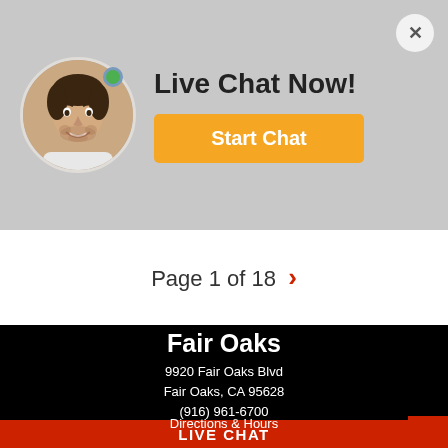[Figure (screenshot): Live chat widget with avatar photo of a smiling man, online indicator green dot, 'Live Chat Now!' title, and 'Start Chat' orange button. A close (X) button is in the top right corner.]
Page 1 of 18 >
Fair Oaks
9920 Fair Oaks Blvd
Fair Oaks, CA 95628
(916) 961-6700
Directions & Hours
LIVE CHAT